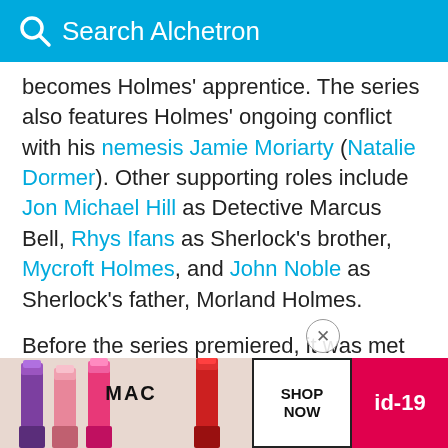Search Alchetron
becomes Holmes' apprentice. The series also features Holmes' ongoing conflict with his nemesis Jamie Moriarty (Natalie Dormer). Other supporting roles include Jon Michael Hill as Detective Marcus Bell, Rhys Ifans as Sherlock's brother, Mycroft Holmes, and John Noble as Sherlock's father, Morland Holmes.
Before the series premiered, it was met with some criticism given it followed closely on the heels of the BBC's modern adaptation Sherlock. After the premiere, it was picked up for a full season and later an extra two episodes. The season two premi...
[Figure (screenshot): Advertisement banner for MAC cosmetics showing lipsticks in purple, pink, and red colors with SHOP NOW button and id-19 label in red]